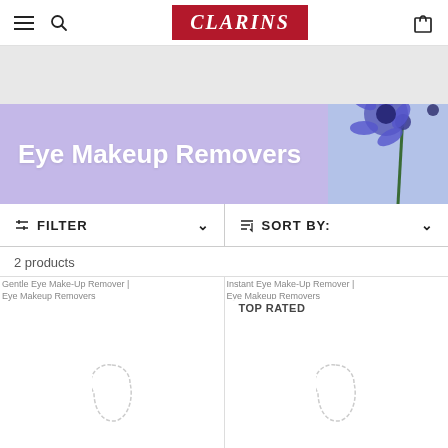CLARINS
[Figure (illustration): Gray banner placeholder area below the header navigation]
Eye Makeup Removers
[Figure (photo): Blue cornflower flowers on lavender/purple background banner]
FILTER
SORT BY:
2 products
[Figure (photo): Gentle Eye Make-Up Remover | Eye Makeup Removers - product image loading]
[Figure (photo): Instant Eye Make-Up Remover | Eye Makeup Removers - product image loading with TOP RATED badge]